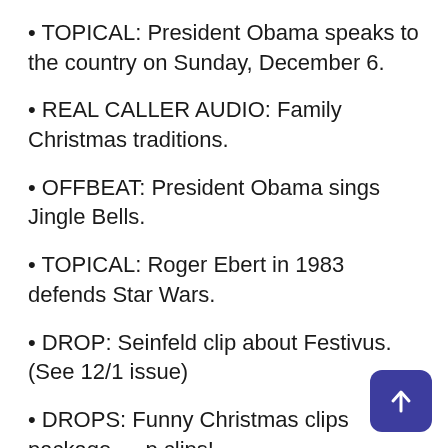TOPICAL: President Obama speaks to the country on Sunday, December 6.
REAL CALLER AUDIO: Family Christmas traditions.
OFFBEAT: President Obama sings Jingle Bells.
TOPICAL: Roger Ebert in 1983 defends Star Wars.
DROP: Seinfeld clip about Festivus. (See 12/1 issue)
DROPS: Funny Christmas clips package — clips!